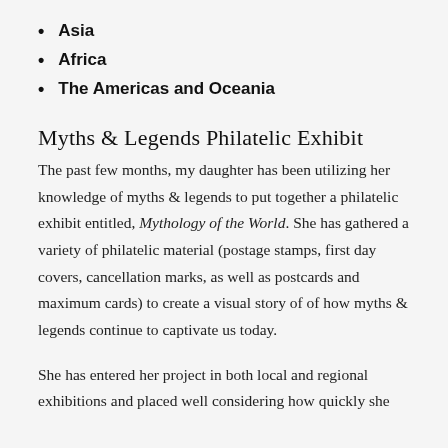Asia
Africa
The Americas and Oceania
Myths & Legends Philatelic Exhibit
The past few months, my daughter has been utilizing her knowledge of myths & legends to put together a philatelic exhibit entitled, Mythology of the World. She has gathered a variety of philatelic material (postage stamps, first day covers, cancellation marks, as well as postcards and maximum cards) to create a visual story of of how myths & legends continue to captivate us today.
She has entered her project in both local and regional exhibitions and placed well considering how quickly she